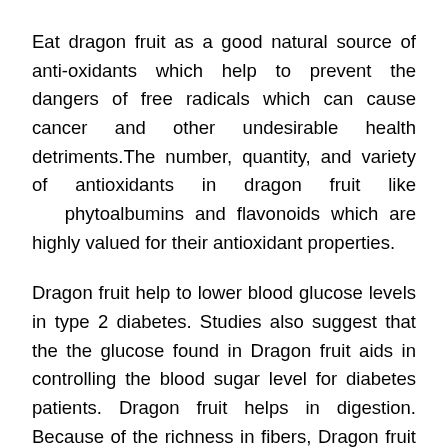Eat dragon fruit as a good natural source of anti-oxidants which help to prevent the dangers of free radicals which can cause cancer and other undesirable health detriments.The number, quantity, and variety of antioxidants in dragon fruit like phytoalbumins and flavonoids which are highly valued for their antioxidant properties.
Dragon fruit help to lower blood glucose levels in type 2 diabetes. Studies also suggest that the the glucose found in Dragon fruit aids in controlling the blood sugar level for diabetes patients. Dragon fruit helps in digestion. Because of the richness in fibers, Dragon fruit aids in the digestion of food, Studies also suggest that Dragon fruit promotes the growth of probiotics.